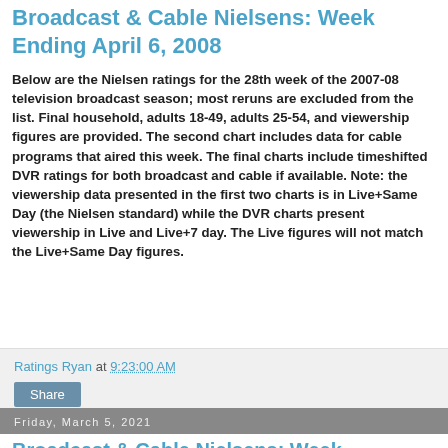Broadcast & Cable Nielsens: Week Ending April 6, 2008
Below are the Nielsen ratings for the 28th week of the 2007-08 television broadcast season; most reruns are excluded from the list. Final household, adults 18-49, adults 25-54, and viewership figures are provided. The second chart includes data for cable programs that aired this week. The final charts include timeshifted DVR ratings for both broadcast and cable if available. Note: the viewership data presented in the first two charts is in Live+Same Day (the Nielsen standard) while the DVR charts present viewership in Live and Live+7 day. The Live figures will not match the Live+Same Day figures.
Ratings Ryan at 9:23:00 AM
Share
Friday, March 5, 2021
Broadcast & Cable Nielsens: Week